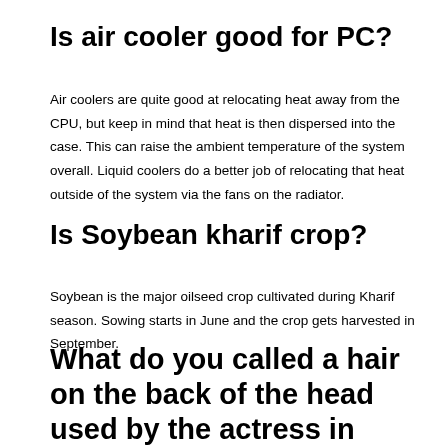Is air cooler good for PC?
Air coolers are quite good at relocating heat away from the CPU, but keep in mind that heat is then dispersed into the case. This can raise the ambient temperature of the system overall. Liquid coolers do a better job of relocating that heat outside of the system via the fans on the radiator.
Is Soybean kharif crop?
Soybean is the major oilseed crop cultivated during Kharif season. Sowing starts in June and the crop gets harvested in September.
What do you called a hair on the back of the head used by the actress in kabuki?